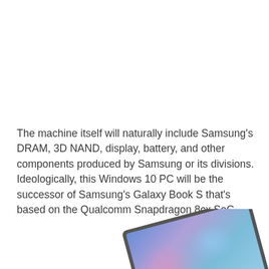The machine itself will naturally include Samsung's DRAM, 3D NAND, display, battery, and other components produced by Samsung or its divisions. Ideologically, this Windows 10 PC will be the successor of Samsung's Galaxy Book S that's based on the Qualcomm Snapdragon 8cx SoC.
[Figure (photo): Partial view of a Samsung Galaxy Book S laptop/tablet device showing its display screen with a blue/purple abstract wallpaper, viewed from a slight angle. Only the top portion of the device is visible.]